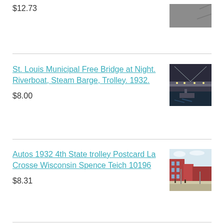$12.73
[Figure (photo): Partial product thumbnail image, grayscale, partially cropped at top of page]
St. Louis Municipal Free Bridge at Night. Riverboat, Steam Barge, Trolley. 1932.
$8.00
[Figure (photo): Vintage photo of St. Louis Municipal Free Bridge at night with riverboat]
Autos 1932 4th State trolley Postcard La Crosse Wisconsin Spence Teich 10196
$8.31
[Figure (photo): Vintage postcard showing street scene in La Crosse Wisconsin with autos and trolley]